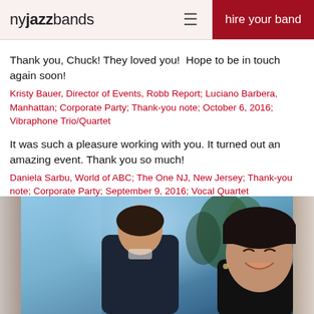nyjazzbands — hire your band
Thank you, Chuck! They loved you!  Hope to be in touch again soon!
Kristy Bauer, Director of Events, Robb Report; Luciano Barbera, Manhattan; Corporate Party; Thank-you note; October 6, 2016; Vibraphone Trio/Quartet
It was such a pleasure working with you. It turned out an amazing event. Thank you so much!
Daniela Sarbu, World of ABC; The One NJ, New Jersey; Thank-you note; Corporate Party; September 9, 2016; Vocal Quartet
[Figure (photo): Photo of two people at an event venue; a man in a dark suit seen from behind and a smiling woman with dark hair in the foreground, with blue ambient lighting.]